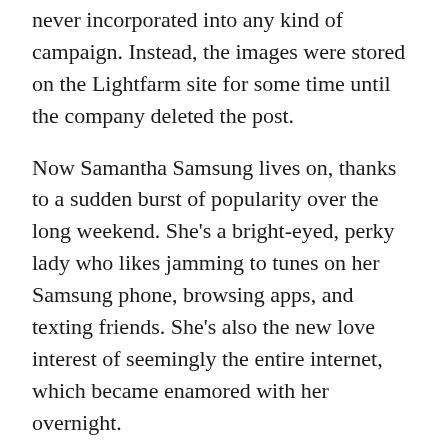never incorporated into any kind of campaign. Instead, the images were stored on the Lightfarm site for some time until the company deleted the post.
Now Samantha Samsung lives on, thanks to a sudden burst of popularity over the long weekend. She’s a bright-eyed, perky lady who likes jamming to tunes on her Samsung phone, browsing apps, and texting friends. She’s also the new love interest of seemingly the entire internet, which became enamored with her overnight.
[Figure (other): Advertisement placeholder box with light beige/cream background]
Through the long weekend, the internet created a bunch of Samsung content. Much of it is not safe for work; the “rule34” subreddit is absolutely flooded with